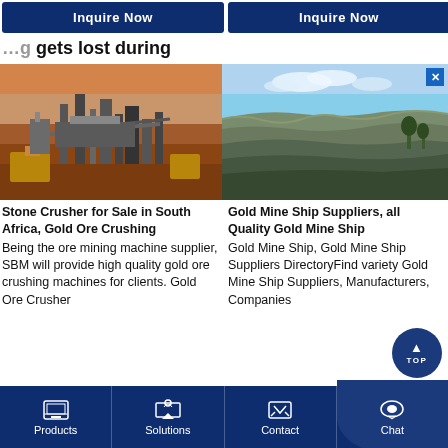[Figure (screenshot): Two blue Inquire Now buttons side by side at the top of a webpage]
gets lost during
[Figure (photo): Left: Aerial view of a mining/stone crushing plant in a red earth landscape (South Africa). Right: Open-pit gold mine with rocky terrain and blue sky.]
Stone Crusher for Sale in South Africa, Gold Ore Crushing
Gold Mine Ship Suppliers, all Quality Gold Mine Ship
Being the ore mining machine supplier, SBM will provide high quality gold ore crushing machines for clients. Gold Ore Crusher
Gold Mine Ship, Gold Mine Ship Suppliers DirectoryFind variety Gold Mine Ship Suppliers, Manufacturers, Companies
[Figure (other): Round dark blue TOP navigation button with upward arrow]
[Figure (screenshot): Bottom navigation bar with Products, Solutions, Contact, Chat icons on dark blue background]